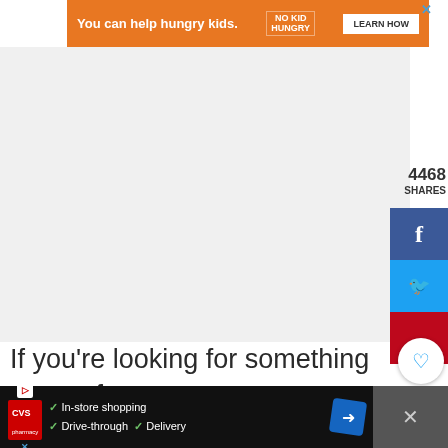[Figure (screenshot): Orange advertisement banner: 'You can help hungry kids. NO KID HUNGRY LEARN HOW']
4468
SHARES
If you’re looking for something to sew for an ornament exchange, a DIY neighbor gift idea, or soft ornaments, keep scrolling and see all the adorable felt Christmas sewing projects!
[Figure (screenshot): CVS Pharmacy advertisement: In-store shopping, Drive-through, Delivery]